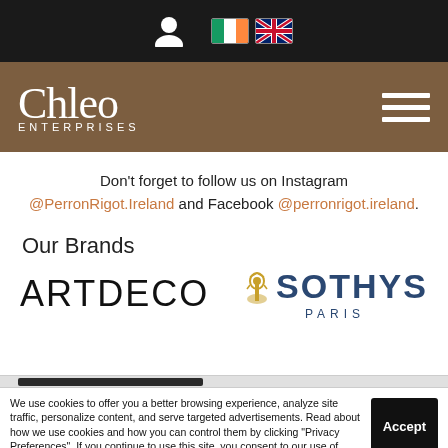[Figure (screenshot): Top navigation bar with dark background showing person icon and country flag icons (Ireland and UK)]
[Figure (logo): Chleo Enterprises logo in white text on brown background with hamburger menu icon on right]
Don't forget to follow us on Instagram @PerronRigot.Ireland and Facebook @perronrigot.ireland.
Our Brands
[Figure (logo): ARTDECO brand logo in large black sans-serif text]
[Figure (logo): SOTHYS PARIS brand logo in dark blue with decorative gold icon]
We use cookies to offer you a better browsing experience, analyze site traffic, personalize content, and serve targeted advertisements. Read about how we use cookies and how you can control them by clicking "Privacy Preferences". If you continue to use this site, you consent to our use of cookies.